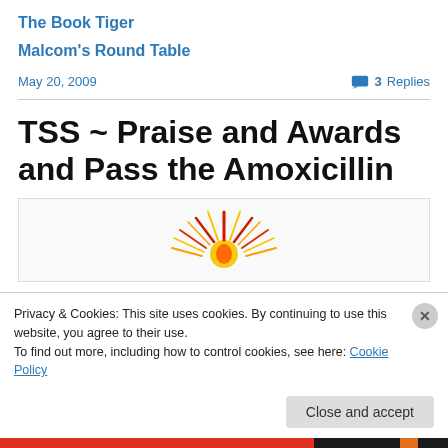The Book Tiger
Malcom's Round Table
May 20, 2009    3 Replies
TSS ~ Praise and Awards and Pass the Amoxicillin
[Figure (illustration): Decorative flame/burst image on light background]
Privacy & Cookies: This site uses cookies. By continuing to use this website, you agree to their use.
To find out more, including how to control cookies, see here: Cookie Policy
Close and accept